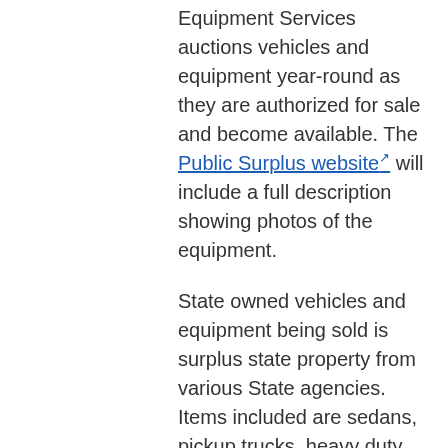Equipment Services auctions vehicles and equipment year-round as they are authorized for sale and become available. The Public Surplus website will include a full description showing photos of the equipment.
State owned vehicles and equipment being sold is surplus state property from various State agencies. Items included are sedans, pickup trucks, heavy duty trucks, Off and on road construction equipment and various specialized equipment such as arrow boards, message boards, air compressors, water tanks and the like. All auction items are sold as is with no warranties.
Per State statute, surplus items are first offered for sale to other state agencies, local government agencies, school districts and other eligible nonprofit institutions. These agencies are referred to as donees. Items are offered to donees at an ADOT-surplus